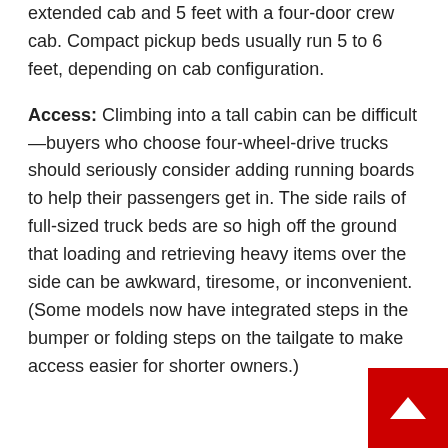extended cab and 5 feet with a four-door crew cab. Compact pickup beds usually run 5 to 6 feet, depending on cab configuration.
Access: Climbing into a tall cabin can be difficult—buyers who choose four-wheel-drive trucks should seriously consider adding running boards to help their passengers get in. The side rails of full-sized truck beds are so high off the ground that loading and retrieving heavy items over the side can be awkward, tiresome, or inconvenient. (Some models now have integrated steps in the bumper or folding steps on the tailgate to make access easier for shorter owners.)